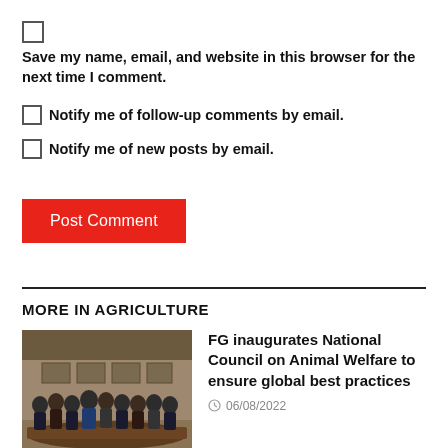Save my name, email, and website in this browser for the next time I comment.
Notify me of follow-up comments by email.
Notify me of new posts by email.
Post Comment
MORE IN AGRICULTURE
[Figure (photo): Group photo of people standing in a formal meeting room setting]
FG inaugurates National Council on Animal Welfare to ensure global best practices
06/08/2022